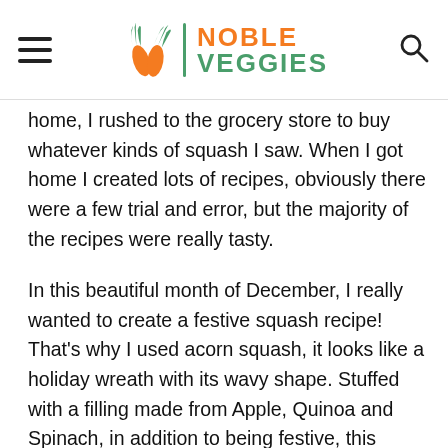NOBLE VEGGIES
home, I rushed to the grocery store to buy whatever kinds of squash I saw. When I got home I created lots of recipes, obviously there were a few trial and error, but the majority of the recipes were really tasty.
In this beautiful month of December, I really wanted to create a festive squash recipe! That’s why I used acorn squash, it looks like a holiday wreath with its wavy shape. Stuffed with a filling made from Apple, Quinoa and Spinach, in addition to being festive, this squash recipe is super healthy